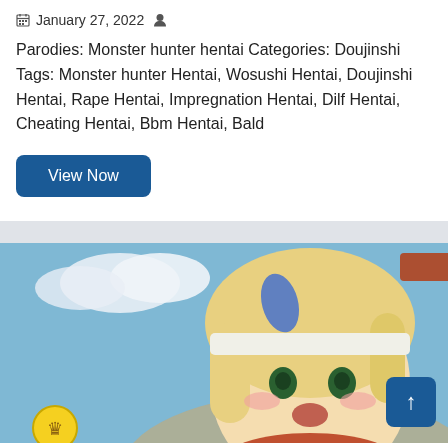January 27, 2022
Parodies: Monster hunter hentai Categories: Doujinshi Tags: Monster hunter Hentai, Wosushi Hentai, Doujinshi Hentai, Rape Hentai, Impregnation Hentai, Dilf Hentai, Cheating Hentai, Bbm Hentai, Bald
View Now
[Figure (illustration): Manga/anime style illustration showing a blonde female character in fantasy armor with horns, with Japanese text overlay reading ワガママ主女のハンター大連続狩猟!, and a second dark-haired character visible in the background]